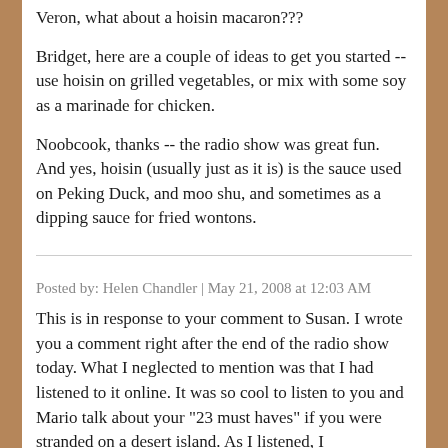Veron, what about a hoisin macaron???
Bridget, here are a couple of ideas to get you started -- use hoisin on grilled vegetables, or mix with some soy as a marinade for chicken.
Noobcook, thanks -- the radio show was great fun. And yes, hoisin (usually just as it is) is the sauce used on Peking Duck, and moo shu, and sometimes as a dipping sauce for fried wontons.
Posted by: Helen Chandler | May 21, 2008 at 12:03 AM
This is in response to your comment to Susan. I wrote you a comment right after the end of the radio show today. What I neglected to mention was that I had listened to it online. It was so cool to listen to you and Mario talk about your "23 must haves" if you were stranded on a desert island. As I listened, I